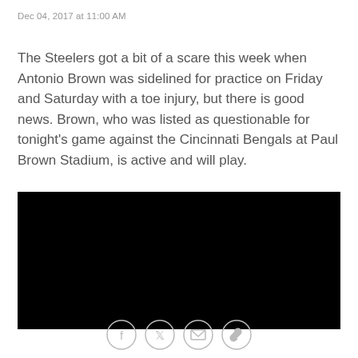Dec 04, 2017 at 11:00 AM
The Steelers got a bit of a scare this week when Antonio Brown was sidelined for practice on Friday and Saturday with a toe injury, but there is good news. Brown, who was listed as questionable for tonight's game against the Cincinnati Bengals at Paul Brown Stadium, is active and will play.
[Figure (other): Black video embed block]
[Figure (other): Social sharing icons: Facebook, Twitter, Email, Link]